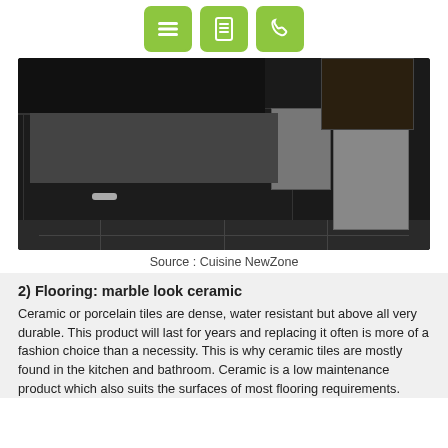[Logo/navigation icons: menu, contact list, phone]
[Figure (photo): Kitchen interior with dark black cabinets and drawers with chrome handles, stainless steel appliances, and dark tile flooring]
Source : Cuisine NewZone
2) Flooring: marble look ceramic
Ceramic or porcelain tiles are dense, water resistant but above all very durable. This product will last for years and replacing it often is more of a fashion choice than a necessity. This is why ceramic tiles are mostly found in the kitchen and bathroom. Ceramic is a low maintenance product which also suits the surfaces of most flooring requirements.